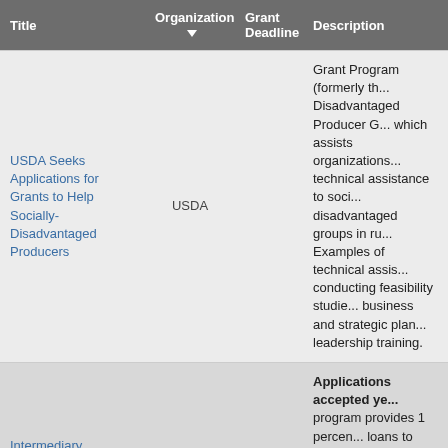| Title | Organization ▼ | Grant Deadline | Description |
| --- | --- | --- | --- |
| USDA Seeks Applications for Grants to Help Socially-Disadvantaged Producers | USDA |  | Grant Program (formerly the Disadvantaged Producer G... which assists organizations... technical assistance to soci... disadvantaged groups in ru... Examples of technical assis... conducting feasibility studie... business and strategic plan... leadership training. |
| Intermediary Relending Program | USDA |  | Applications accepted ye... program provides 1 percen... loans to local intermediaries... businesses to improve econ... and create jobs in rural com... |
|  |  |  | Application Deadline Apri... purpose of the Crop Protec... Management program is to... priority issues related to pe... management using IPM an... |